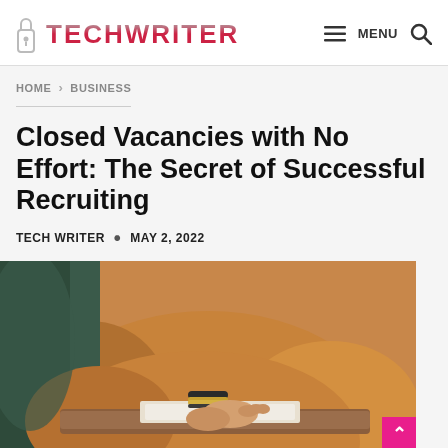TECHWRITER — MENU (navigation bar with logo)
HOME > BUSINESS
Closed Vacancies with No Effort: The Secret of Successful Recruiting
TECH WRITER • MAY 2, 2022
[Figure (photo): Person in a mustard/golden sweater writing or working at a wooden desk, wearing stacked bracelets, viewed from slightly above]